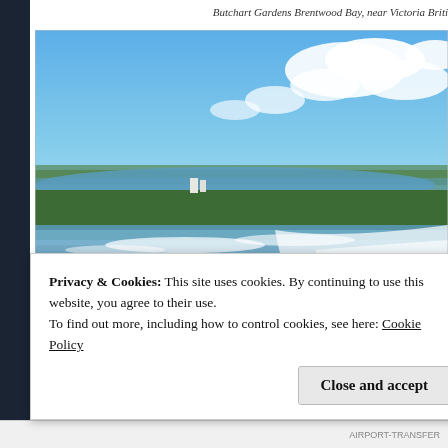Butchart Gardens Brentwood Bay, near Victoria Briti
[Figure (photo): Aerial photograph of Niagara Falls showing the horseshoe falls with mist, surrounding green landscape, river, and blue sky with clouds]
Privacy & Cookies: This site uses cookies. By continuing to use this website, you agree to their use.
To find out more, including how to control cookies, see here: Cookie Policy
Close and accept